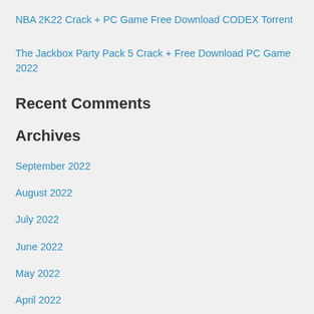NBA 2K22 Crack + PC Game Free Download CODEX Torrent
The Jackbox Party Pack 5 Crack + Free Download PC Game 2022
Recent Comments
Archives
September 2022
August 2022
July 2022
June 2022
May 2022
April 2022
March 2022
February 2022